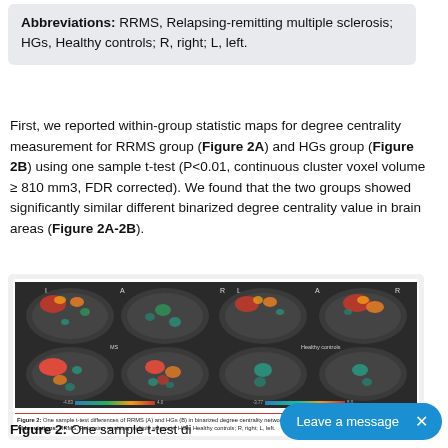Abbreviations: RRMS, Relapsing-remitting multiple sclerosis; HGs, Healthy controls; R, right; L, left.
First, we reported within-group statistic maps for degree centrality measurement for RRMS group (Figure 2A) and HGs group (Figure 2B) using one sample t-test (P<0.01, continuous cluster voxel volume ≥ 810 mm3, FDR corrected). We found that the two groups showed significantly similar different binarized degree centrality value in brain areas (Figure 2A-2B).
[Figure (illustration): Brain surface renderings showing one sample t-test differences of RRMS (A) and HGs (B) in binarized degree centrality network with threshold at t=0.3. Four views shown per group (left lateral, left medial, right lateral, right medial) with two rows (top and bottom) showing different orientations. Color scales shown below each group's images ranging from negative (blue) to positive (red/orange/yellow) values. Labels L, A, R visible on top row.]
Figure 2: One sample t-test di...